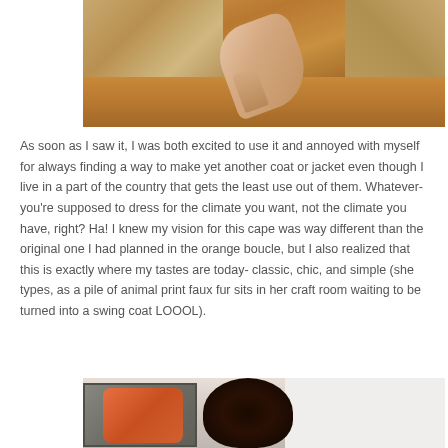[Figure (photo): Top portion of a photo showing a person's legs in tweed/plaid wide-leg pants and beige/nude pointed-toe suede mule shoes, standing on a light wood floor. Fabric patterns visible on left and right sides.]
As soon as I saw it, I was both excited to use it and annoyed with myself for always finding a way to make yet another coat or jacket even though I live in a part of the country that gets the least use out of them. Whatever- you're supposed to dress for the climate you want, not the climate you have, right? Ha! I knew my vision for this cape was way different than the original one I had planned in the orange boucle, but I also realized that this is exactly where my tastes are today- classic, chic, and simple (she types, as a pile of animal print faux fur sits in her craft room waiting to be turned into a swing coat LOOOL).
[Figure (photo): Bottom portion of a photo showing a person with curly dark hair from above/behind, seated near an orange pillow, with a framed black and white artwork visible in the background against a white wall.]